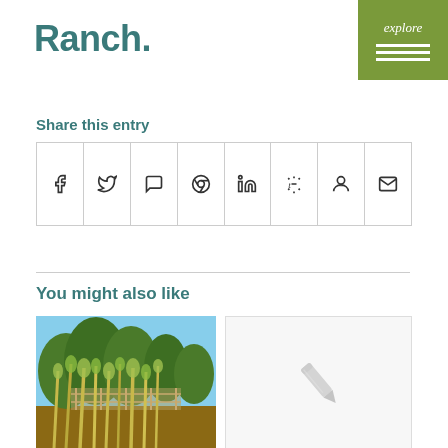Ranch.
Share this entry
[Figure (other): Social sharing icons row: Facebook, Twitter, WhatsApp, Pinterest, LinkedIn, Tumblr, Reddit, Email]
You might also like
[Figure (photo): Photo of a ranch yard with tall dry reeds/cane in foreground and trees behind a fence structure under blue sky]
[Figure (other): Placeholder image with pencil/edit icon in center on light grey background]